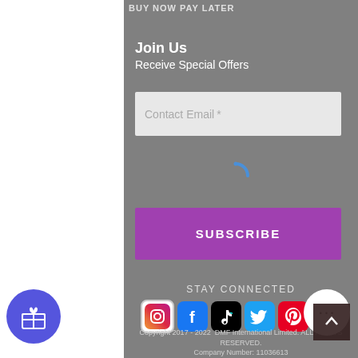BUY NOW PAY LATER
Join Us
Receive Special Offers
Contact Email *
[Figure (other): Loading spinner icon in blue]
SUBSCRIBE
STAY CONNECTED
[Figure (other): Social media icons row: Instagram, Facebook, TikTok, Twitter, Pinterest, Google+]
Copyright 2017 - 2022  DMF International Limited. ALL RIGHTS RESERVED.
Company Number: 11036613
VAT Number: GB 308 7295 84.